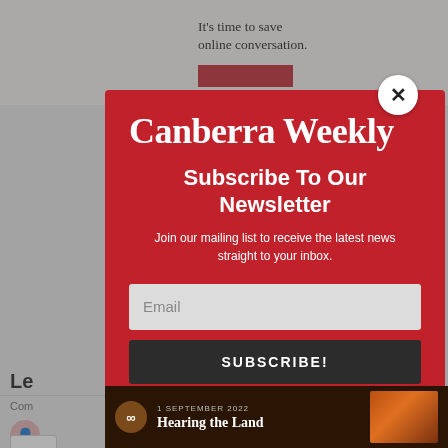[Figure (screenshot): Background of a webpage showing partial content behind a popup modal. Top area shows 'It's time to save online conversation.' text and a red button. Below shows partial 'Le' heading and comment area with 'up' text. Avatar icon and right button visible. Bottom chevron and 'back' text visible.]
Canberra Weekly
Subscribe To Our Newsletter
Join our mailing list to receive the latest news straight to your inbox.
Email
SUBSCRIBE!
1 SEPTEMBER 2022
Hearing the Land